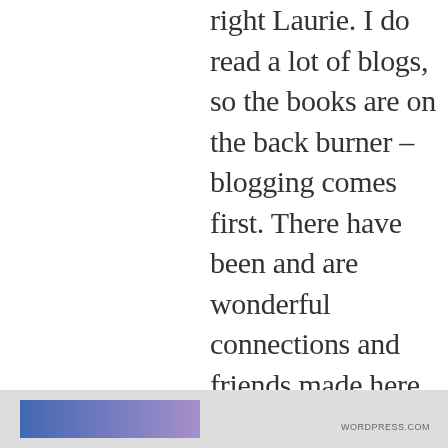right Laurie. I do read a lot of blogs, so the books are on the back burner – blogging comes first. There have been and are wonderful connections and friends made here at WordPress – I agree with you. Think about it – whatever is going on in the world, there is
Privacy & Cookies: This site uses cookies. By continuing to use this website, you agree to their use.
To find out more, including how to control cookies, see here: Cookie Policy
Close and accept